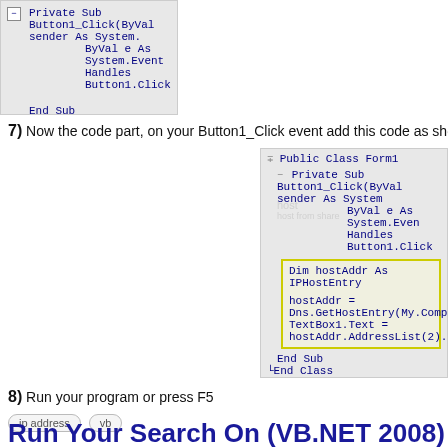[Figure (screenshot): Code editor screenshot showing top portion with Private Sub Button1_Click and End Sub / End Class]
7) Now the code part, on your Button1_Click event add this code as shown i
[Figure (screenshot): Code editor screenshot showing Public Class Form1 with Private Sub Button1_Click and highlighted code block: Dim hostAddr As IPHostEntry, hostAddr = Dns.GetHostEntry(My.Computer.Name), TextBox1.Text = hostAddr.AddressList(2).ToSt]
8) Run your program or press F5
ip address   vb
Run Your Search On (VB.NET 2008)